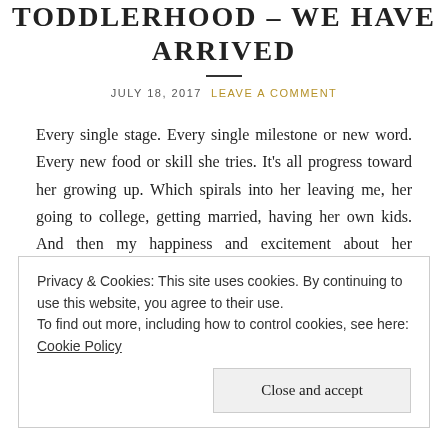TODDLERHOOD – WE HAVE ARRIVED
JULY 18, 2017   LEAVE A COMMENT
Every single stage. Every single milestone or new word. Every new food or skill she tries. It's all progress toward her growing up. Which spirals into her leaving me, her going to college, getting married, having her own kids. And then my happiness and excitement about her development turns into sadness about her leaving me. [...]
Privacy & Cookies: This site uses cookies. By continuing to use this website, you agree to their use.
To find out more, including how to control cookies, see here: Cookie Policy
Close and accept